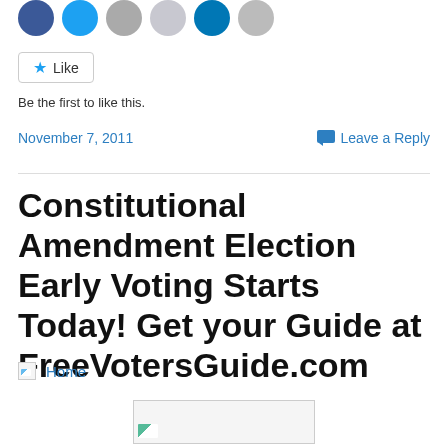[Figure (other): Row of social sharing icon circles: Facebook (blue), Twitter (blue), email (grey), Pinterest (light grey), LinkedIn (blue), print (grey)]
[Figure (other): Like button with star icon]
Be the first to like this.
November 7, 2011
Leave a Reply
Constitutional Amendment Election Early Voting Starts Today! Get your Guide at FreeVotersGuide.com
Home
[Figure (other): Broken/placeholder image thumbnail at bottom center]